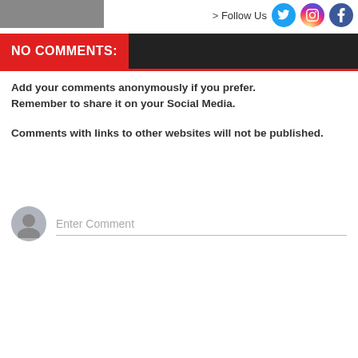[Figure (photo): Partial photo visible at top left corner of the page]
> Follow Us
NO COMMENTS:
Add your comments anonymously if you prefer. Remember to share it on your Social Media.

Comments with links to other websites will not be published.
[Figure (other): Comment input field with user avatar icon and 'Enter Comment' placeholder text]